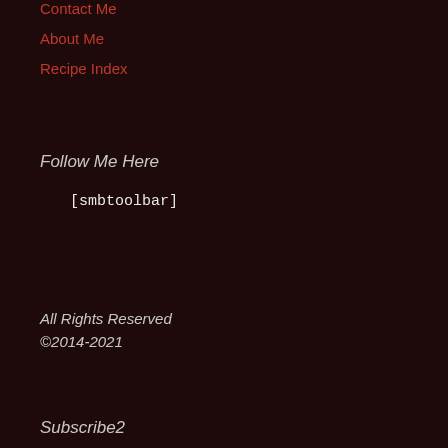Contact Me
About Me
Recipe Index
Follow Me Here
[smbtoolbar]
All Rights Reserved ©2014-2021
Subscribe2